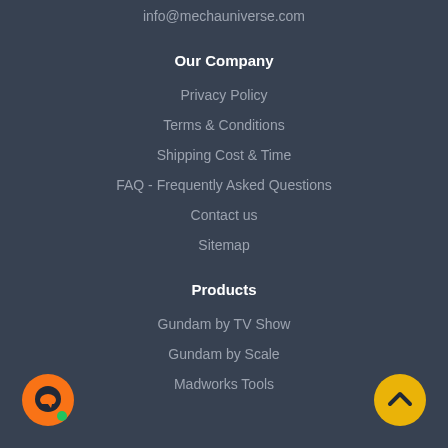info@mechauniverse.com
Our Company
Privacy Policy
Terms & Conditions
Shipping Cost & Time
FAQ - Frequently Asked Questions
Contact us
Sitemap
Products
Gundam by TV Show
Gundam by Scale
Madworks Tools
[Figure (illustration): Orange circular chat button with speech bubble icon and green online indicator dot, bottom left corner]
[Figure (illustration): Yellow circular scroll-to-top button with upward chevron arrow, bottom right corner]